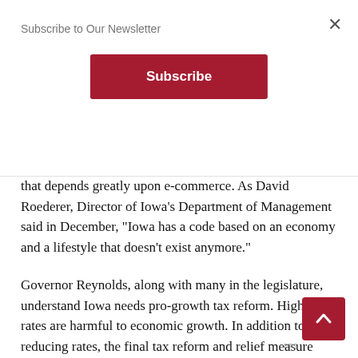Subscribe to Our Newsletter
that depends greatly upon e-commerce. As David Roederer, Director of Iowa's Department of Management said in December, "Iowa has a code based on an economy and a lifestyle that doesn't exist anymore."
Governor Reynolds, along with many in the legislature, understand Iowa needs pro-growth tax reform. High tax rates are harmful to economic growth. In addition to reducing rates, the final tax reform and relief measure should be comprehensive, use revenue triggers or phase-ins, reduce and reduce the use of tax credits, and modernize the sales and